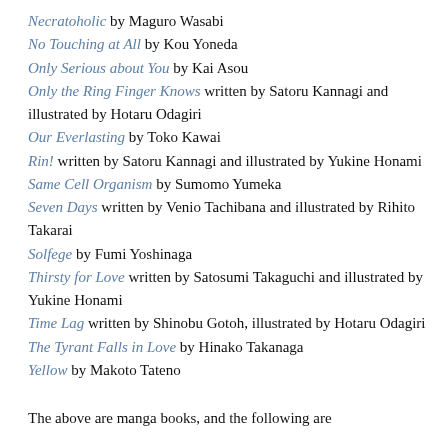Necratoholic by Maguro Wasabi
No Touching at All by Kou Yoneda
Only Serious about You by Kai Asou
Only the Ring Finger Knows written by Satoru Kannagi and illustrated by Hotaru Odagiri
Our Everlasting by Toko Kawai
Rin! written by Satoru Kannagi and illustrated by Yukine Honami
Same Cell Organism by Sumomo Yumeka
Seven Days written by Venio Tachibana and illustrated by Rihito Takarai
Solfege by Fumi Yoshinaga
Thirsty for Love written by Satosumi Takaguchi and illustrated by Yukine Honami
Time Lag written by Shinobu Gotoh, illustrated by Hotaru Odagiri
The Tyrant Falls in Love by Hinako Takanaga
Yellow by Makoto Tateno
The above are manga books, and the following are...